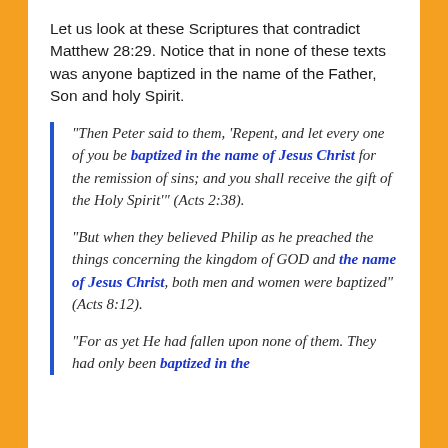Let us look at these Scriptures that contradict Matthew 28:29. Notice that in none of these texts was anyone baptized in the name of the Father, Son and holy Spirit.
“Then Peter said to them, ‘Repent, and let every one of you be baptized in the name of Jesus Christ for the remission of sins; and you shall receive the gift of the Holy Spirit’” (Acts 2:38).
“But when they believed Philip as he preached the things concerning the kingdom of GOD and the name of Jesus Christ, both men and women were baptized” (Acts 8:12).
“For as yet He had fallen upon none of them. They had only been baptized in the